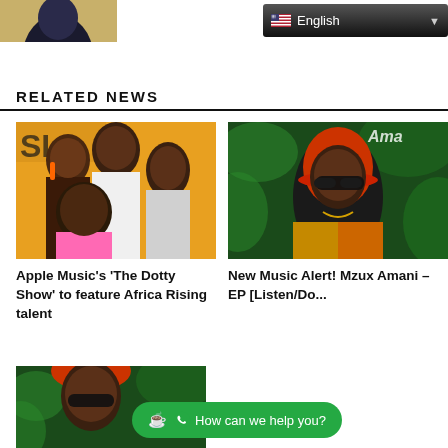[Figure (photo): Partial photo of a person against a light background, top-left corner]
[Figure (screenshot): Language selector dropdown showing US flag and 'English' text on dark background]
RELATED NEWS
[Figure (photo): Group photo on yellow background featuring several African music artists for Apple Music's The Dotty Show]
Apple Music's 'The Dotty Show' to feature Africa Rising talent
[Figure (photo): Male artist wearing red hat and colorful jacket against green leafy background, for Mzux Amani EP]
New Music Alert! Mzux Amani – EP [Listen/Do...
[Figure (photo): Same artist in red hat against green background, bottom portion]
[Figure (screenshot): WhatsApp chat bubble with text 'How can we help you?']